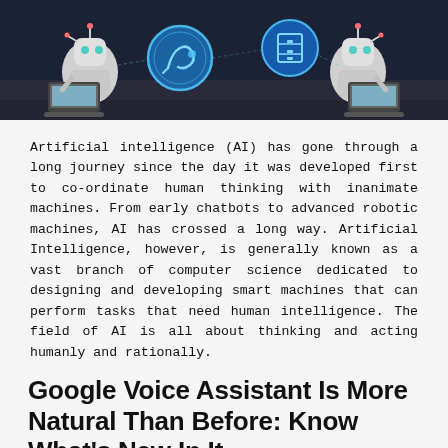[Figure (photo): Two white robots sitting with laptops, with glowing blue holographic icons (robotic arm and filing cabinet) floating between them on a dark background]
Artificial intelligence (AI) has gone through a long journey since the day it was developed first to co-ordinate human thinking with inanimate machines. From early chatbots to advanced robotic machines, AI has crossed a long way. Artificial Intelligence, however, is generally known as a vast branch of computer science dedicated to designing and developing smart machines that can perform tasks that need human intelligence. The field of AI is all about thinking and acting humanly and rationally.
Google Voice Assistant Is More Natural Than Before: Know What's New In It
[Figure (photo): A hand holding a smartphone with a colorful gradient screen, photographed from above on a beige background]